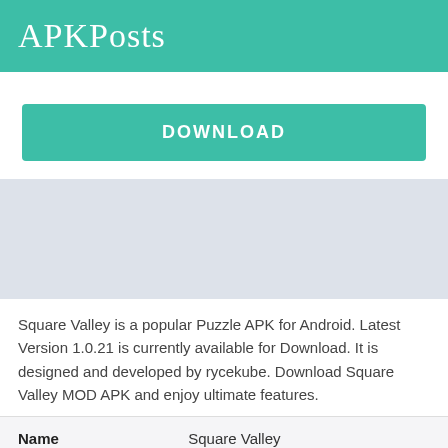APKPosts
DOWNLOAD
[Figure (other): Gray placeholder banner area]
Square Valley is a popular Puzzle APK for Android. Latest Version 1.0.21 is currently available for Download. It is designed and developed by rycekube. Download Square Valley MOD APK and enjoy ultimate features.
| Name | Square Valley |
| --- | --- |